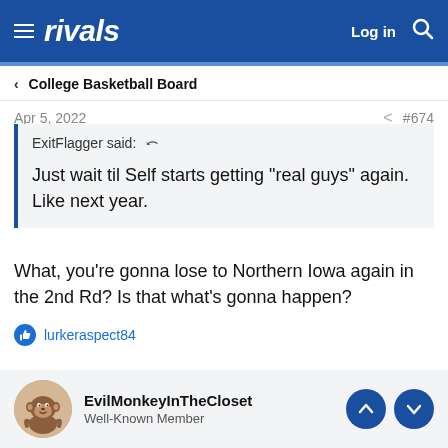rivals — Log in
< College Basketball Board
Apr 5, 2022   #674
ExitFlagger said: 
Just wait til Self starts getting "real guys" again. Like next year.
What, you're gonna lose to Northern Iowa again in the 2nd Rd? Is that what's gonna happen?
lurkeraspect84
EvilMonkeyInTheCloset
Well-Known Member